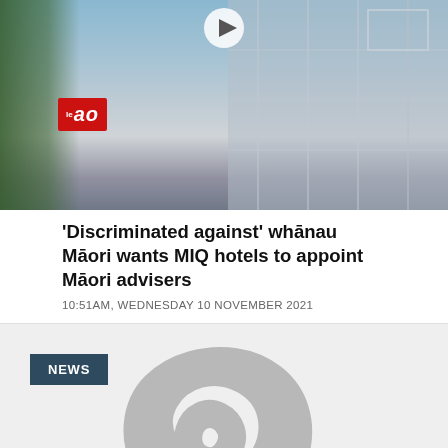[Figure (photo): Hotel building exterior with palm trees and blue sky. Le Ao red badge visible in lower left. Play button icon at top center.]
'Discriminated against' whānau Māori wants MIQ hotels to appoint Māori advisers
10:51AM, WEDNESDAY 10 NOVEMBER 2021
[Figure (logo): NEWS badge with dark teal background, and a large grey koru (spiral) symbol on light grey background]